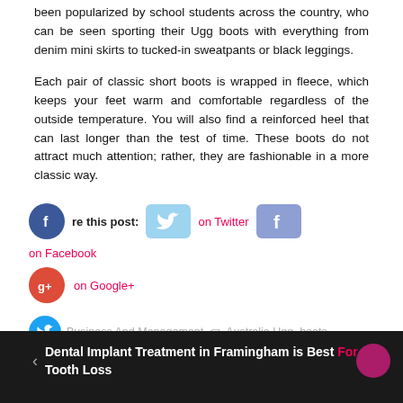been popularized by school students across the country, who can be seen sporting their Ugg boots with everything from denim mini skirts to tucked-in sweatpants or black leggings.
Each pair of classic short boots is wrapped in fleece, which keeps your feet warm and comfortable regardless of the outside temperature. You will also find a reinforced heel that can last longer than the test of time. These boots do not attract much attention; rather, they are fashionable in a more classic way.
Share this post: on Twitter on Facebook on Google+
Business And Management  Australia Ugg, boots
Dental Implant Treatment in Framingham is Best For Tooth Loss